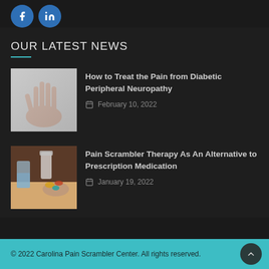[Figure (other): Social media icons: Facebook (f) and LinkedIn (in) circular blue buttons]
OUR LATEST NEWS
[Figure (photo): Hand with outstretched fingers against a light background, related to diabetic peripheral neuropathy article]
How to Treat the Pain from Diabetic Peripheral Neuropathy
February 10, 2022
[Figure (photo): Hand holding pills with a glass of water, related to pain scrambler therapy article]
Pain Scrambler Therapy As An Alternative to Prescription Medication
January 19, 2022
© 2022 Carolina Pain Scrambler Center. All rights reserved.